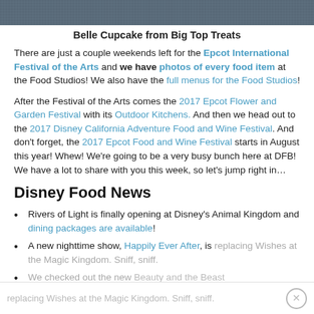[Figure (photo): Cropped top of photo showing a Belle cupcake from Big Top Treats]
Belle Cupcake from Big Top Treats
There are just a couple weekends left for the Epcot International Festival of the Arts and we have photos of every food item at the Food Studios! We also have the full menus for the Food Studios!
After the Festival of the Arts comes the 2017 Epcot Flower and Garden Festival with its Outdoor Kitchens. And then we head out to the 2017 Disney California Adventure Food and Wine Festival. And don't forget, the 2017 Epcot Food and Wine Festival starts in August this year! Whew! We're going to be a very busy bunch here at DFB! We have a lot to share with you this week, so let's jump right in…
Disney Food News
Rivers of Light is finally opening at Disney's Animal Kingdom and dining packages are available!
A new nighttime show, Happily Ever After, is replacing Wishes at the Magic Kingdom. Sniff, sniff.
We checked out the new Beauty and the Beast